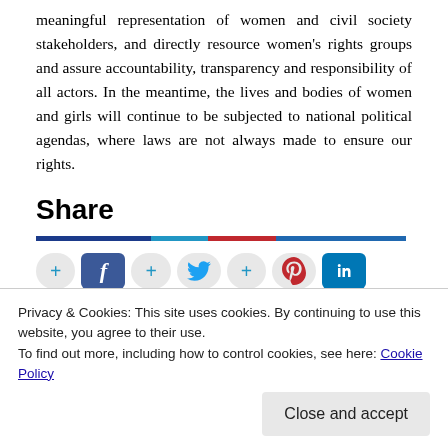meaningful representation of women and civil society stakeholders, and directly resource women's rights groups and assure accountability, transparency and responsibility of all actors. In the meantime, the lives and bodies of women and girls will continue to be subjected to national political agendas, where laws are not always made to ensure our rights.
Share
[Figure (infographic): Social sharing bar with colored divider line (dark blue, cyan, red, blue) and social media buttons: plus icon, Facebook, plus icon, Twitter bird, plus icon, Pinterest P, LinkedIn in]
Privacy & Cookies: This site uses cookies. By continuing to use this website, you agree to their use.
To find out more, including how to control cookies, see here: Cookie Policy
Close and accept